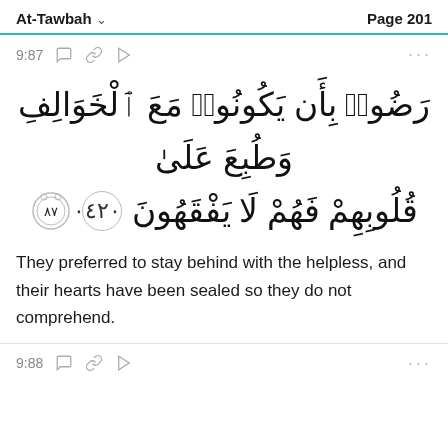At-Tawbah   Page 201
9:87
[Figure (other): Arabic Quranic verse 9:87 with verse number ornament 87]
They preferred to stay behind with the helpless, and their hearts have been sealed so they do not comprehend.
9:88